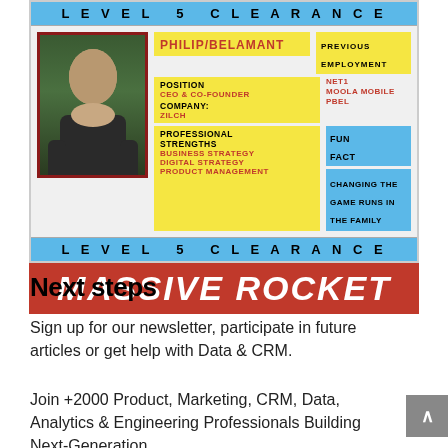[Figure (infographic): ID badge style clearance card for Philip Belamant. Level 5 Clearance header. Photo of a man. Name: PHILIP/BELAMANT, Position: CEO & CO-FOUNDER, Company: ZILCH, Professional Strengths: Business Strategy, Digital Strategy, Product Management. Previous Employment: NET1, MOOLA MOBILE, PBEL. Fun Fact: CHANGING THE GAME RUNS IN THE FAMILY. Massive Rocket banner below.]
Next steps
Sign up for our newsletter, participate in future articles or get help with Data & CRM.
Join +2000 Product, Marketing, CRM, Data, Analytics & Engineering Professionals Building Next-Generation